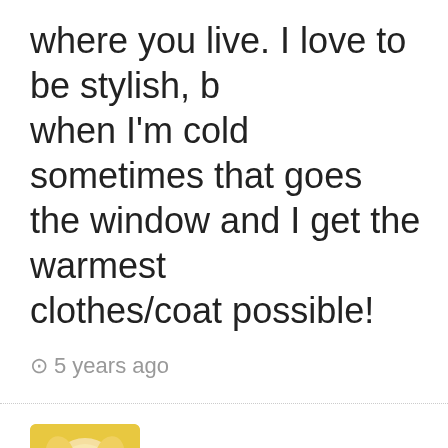where you live. I love to be stylish, but when I'm cold sometimes that goes out the window and I get the warmest clothes/coat possible!
⊙ 5 years ago
Angie | Fashion Stylist
Great question, Suz.
It depends on the...